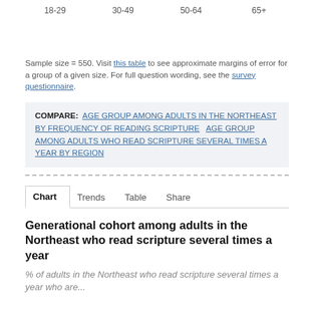18-29   30-49   50-64   65+
Sample size = 550. Visit this table to see approximate margins of error for a group of a given size. For full question wording, see the survey questionnaire.
COMPARE: AGE GROUP AMONG ADULTS IN THE NORTHEAST BY FREQUENCY OF READING SCRIPTURE   AGE GROUP AMONG ADULTS WHO READ SCRIPTURE SEVERAL TIMES A YEAR BY REGION
Chart   Trends   Table   Share
Generational cohort among adults in the Northeast who read scripture several times a year
% of adults in the Northeast who read scripture several times a year who are...